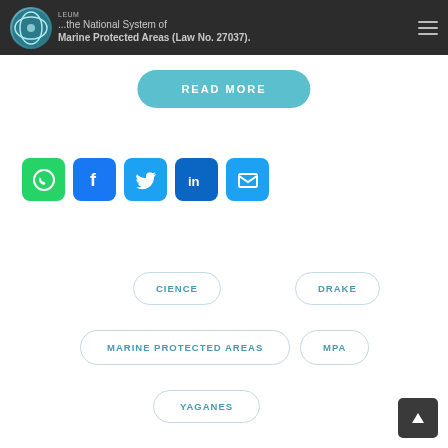...the National System of Marine Protected Areas (Law No. 27037).
READ MORE
[Figure (infographic): Row of 5 social media sharing icons: WhatsApp (green), Facebook (blue), Twitter (light blue), LinkedIn (dark blue), Email (light blue)]
CIENCE
DRAKE
MARINE PROTECTED AREAS
MPA
YAGANES